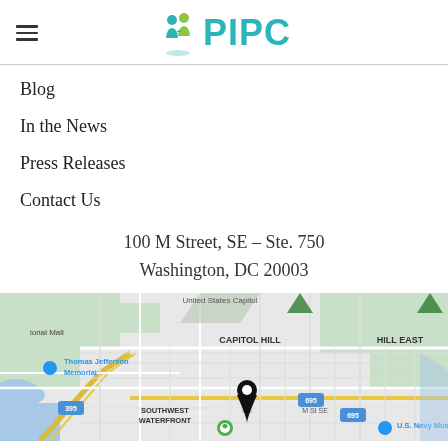PIPC
Blog
In the News
Press Releases
Contact Us
100 M Street, SE – Ste. 750
Washington, DC 20003
[Figure (map): Google Maps screenshot showing Capitol Hill area of Washington DC with a location pin near M St SE, showing Thomas Jefferson Memorial, Southwest Waterfront, Capitol Hill, and Hill East neighborhoods, with U.S. Navy Museum visible.]